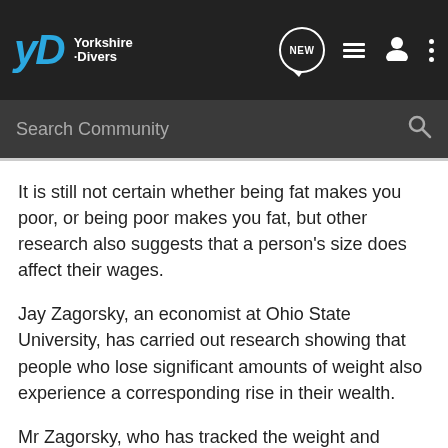[Figure (screenshot): Yorkshire Divers community website header with logo, NEW chat icon, list icon, user icon, and three-dot menu icon on dark background]
[Figure (screenshot): Search Community input bar with magnifying glass icon on dark grey background]
It is still not certain whether being fat makes you poor, or being poor makes you fat, but other research also suggests that a person's size does affect their wages.
Jay Zagorsky, an economist at Ohio State University, has carried out research showing that people who lose significant amounts of weight also experience a corresponding rise in their wealth.
Mr Zagorsky, who has tracked the weight and wealth of 2,000 teenagers for 20 years. said: "Their salary is more likely to increase disproportionately once they lose the weight."
By the time the teenagers turned 39, a strong pattern had